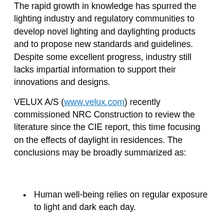The rapid growth in knowledge has spurred the lighting industry and regulatory communities to develop novel lighting and daylighting products and to propose new standards and guidelines. Despite some excellent progress, industry still lacks impartial information to support their innovations and designs.
VELUX A/S (www.velux.com) recently commissioned NRC Construction to review the literature since the CIE report, this time focusing on the effects of daylight in residences. The conclusions may be broadly summarized as:
Human well-being relies on regular exposure to light and dark each day.
Daylight is the most energy-efficient means to deliver the light exposure.
Human circadian rhythms are entrained by light.